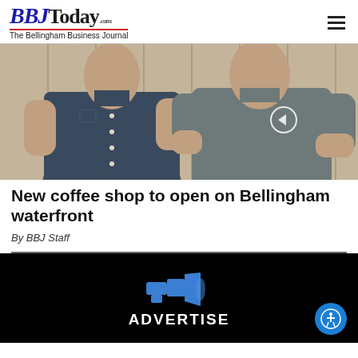BBJToday.com – The Bellingham Business Journal
[Figure (photo): Two men standing side by side in a wood-paneled room; left man wears a dark blue button-up short-sleeve shirt, right man wears a dark grey t-shirt with a circular logo on the chest.]
New coffee shop to open on Bellingham waterfront
By BBJ Staff
[Figure (infographic): Black advertisement banner with a megaphone/bullhorn icon in blue and white, and the word ADVERTISE in white bold text. A blue accessibility icon circle is in the bottom right corner.]